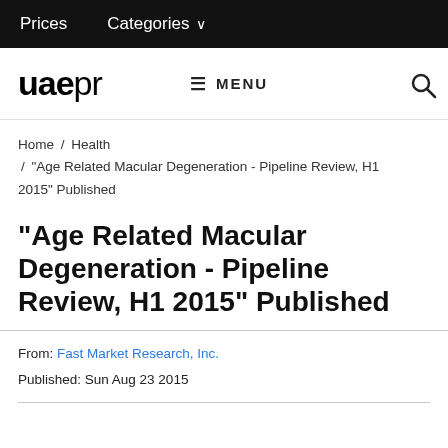Prices   Categories
[Figure (logo): uaepr logo with bold 'uae' and light 'pr' text, plus MENU and search icon navigation bar]
Home / Health / "Age Related Macular Degeneration - Pipeline Review, H1 2015" Published
"Age Related Macular Degeneration - Pipeline Review, H1 2015" Published
From: Fast Market Research, Inc.
Published: Sun Aug 23 2015